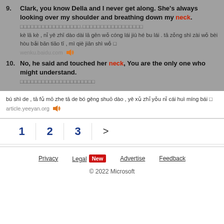9. Clark, you know Della and I never get along. She's always looking over my shoulder and breathing down my neck.
□□□□□□□□□□□□□□□□□.□□□□□□□□□□□□□□□□□
kè lā kè , nǐ yě zhī dào dài lā gēn wǒ cóng lái jiù hé bu lái . tā zǒng shì zài wǒ bèi hòu bǎi bān tiāo tī , mì qiè jiān shì wǒ □
wenku.baidu.com
10. No, he said and touched her neck, You are the only one who might understand.
□□□□□□□□□□□□□□□□□□□□□
bú shì de , tā fǔ mō zhe tā de bó gěng shuō dào , yě xǔ zhǐ yǒu nǐ cái huì míng bái □
article.yeeyan.org
1  2  3  >
Privacy  Legal New  Advertise  Feedback  © 2022 Microsoft